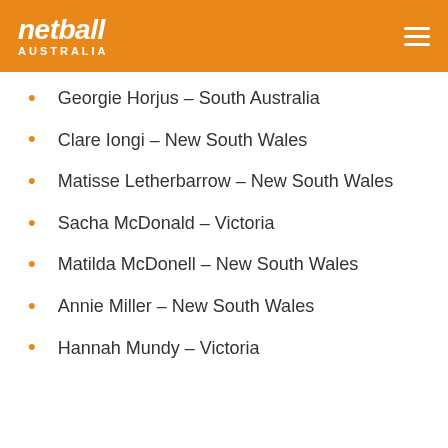netball AUSTRALIA
Georgie Horjus – South Australia
Clare Iongi – New South Wales
Matisse Letherbarrow – New South Wales
Sacha McDonald – Victoria
Matilda McDonell – New South Wales
Annie Miller – New South Wales
Hannah Mundy – Victoria